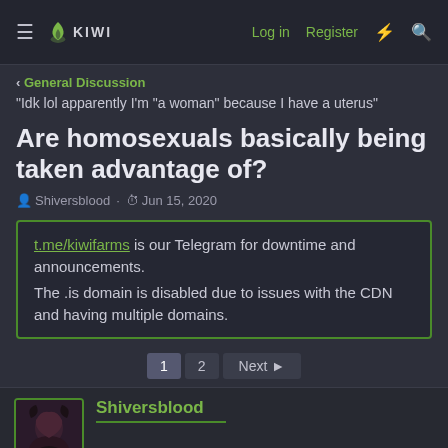KIWI | Log in | Register
< General Discussion
"Idk lol apparently I'm "a woman" because I have a uterus"
Are homosexuals basically being taken advantage of?
Shiversblood · Jun 15, 2020
t.me/kiwifarms is our Telegram for downtime and announcements.
The .is domain is disabled due to issues with the CDN and having multiple domains.
1  2  Next ▶
Shiversblood